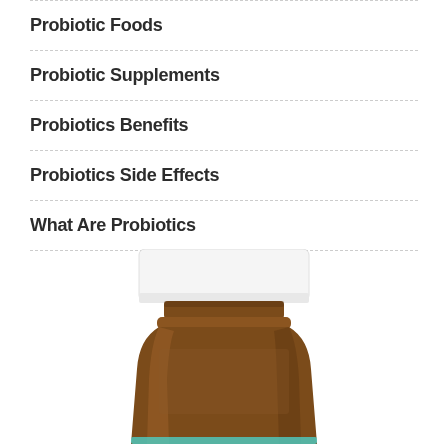Probiotic Foods
Probiotic Supplements
Probiotics Benefits
Probiotics Side Effects
What Are Probiotics
[Figure (photo): Amber glass supplement bottle with white cap, partially cropped at bottom of page]